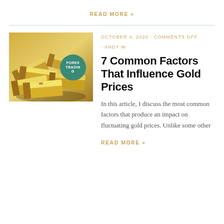READ MORE »
[Figure (photo): Pile of gold bars/ingots with a circular green badge overlay reading FOREX TRADING]
OCTOBER 4, 2020 · COMMENTS OFF
· ANDY W
7 Common Factors That Influence Gold Prices
In this article, I discuss the most common factors that produce an impact on fluctuating gold prices. Unlike some other
READ MORE »